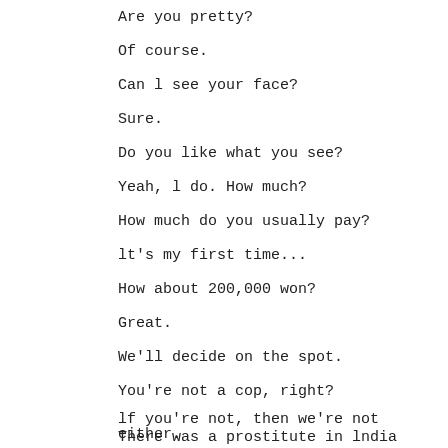Are you pretty?
Of course.
Can l see your face?
Sure.
Do you like what you see?
Yeah, l do. How much?
How much do you usually pay?
lt's my first time...
How about 200,000 won?
Great.
We'll decide on the spot.
You're not a cop, right?
lf you're not, then we're not either.
There was a prostitute in lndia